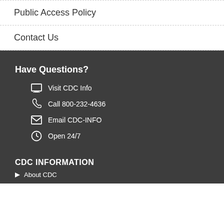Public Access Policy
Contact Us
Have Questions?
Visit CDC Info
Call 800-232-4636
Email CDC-INFO
Open 24/7
CDC INFORMATION
About CDC